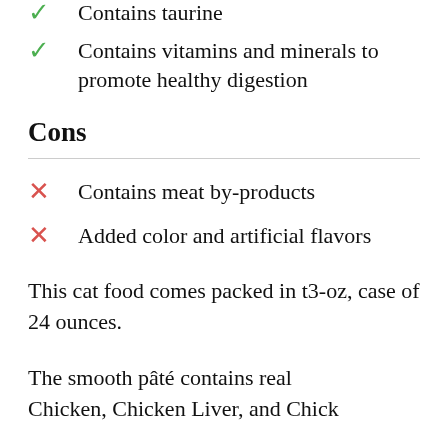Contains taurine
Contains vitamins and minerals to promote healthy digestion
Cons
Contains meat by-products
Added color and artificial flavors
This cat food comes packed in t3-oz, case of 24 ounces.
The smooth pâté contains real Chicken, Chicken Liver, and Chick…